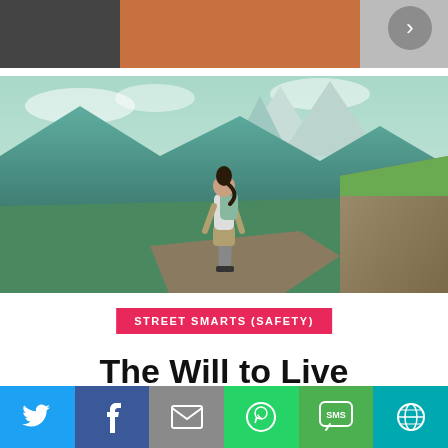[Figure (photo): Partial view of a person with orange background and a right-arrow chevron navigation button in the top-right corner]
[Figure (photo): Woman with backpack standing on a mountain peak overlooking a sweeping green mountain valley with snow-capped peaks in the distance]
STREET SMARTS (SAFETY)
The Will to Live
[Figure (infographic): Social sharing bar with icons for Twitter (blue), Facebook (dark blue), Email (gray), WhatsApp (green), SMS (green), and a globe/browser icon (teal)]